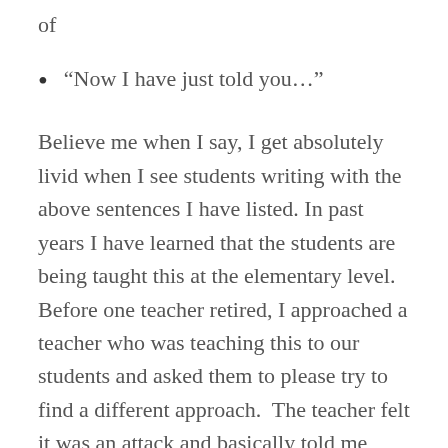of
“Now I have just told you…”
Believe me when I say, I get absolutely livid when I see students writing with the above sentences I have listed. In past years I have learned that the students are being taught this at the elementary level. Before one teacher retired, I approached a teacher who was teaching this to our students and asked them to please try to find a different approach.  The teacher felt it was an attack and basically told me